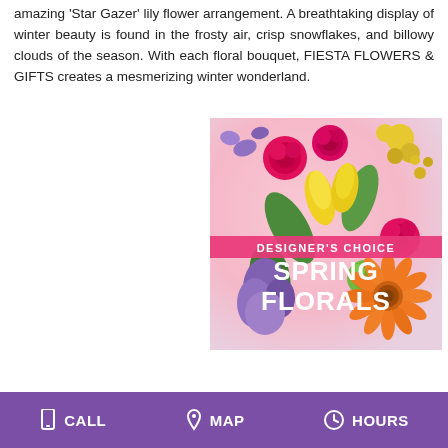amazing 'Star Gazer' lily flower arrangement. A breathtaking display of winter beauty is found in the frosty air, crisp snowflakes, and billowy clouds of the season. With each floral bouquet, FIESTA FLOWERS & GIFTS creates a mesmerizing winter wonderland.
[Figure (photo): A colorful spring flower arrangement photo with hot pink roses, yellow tulips, purple flowers, green fillers, and an orange gerbera daisy. Overlaid text reads 'DESIGNER'S CHOICE SPRING FLORALS' in white bold font on a pink banner.]
CALL   MAP   HOURS